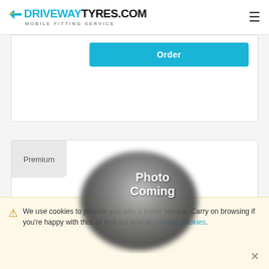DRIVEWAYTYRES.COM MOBILE FITTING SERVICE
[Figure (screenshot): Partial product card with teal 'Order' button visible at top]
Premium
[Figure (photo): Blurred tyre image placeholder with text 'Photo Coming']
We use cookies to provide you with a better service. Carry on browsing if you're happy with this, or find out how to manage cookies.